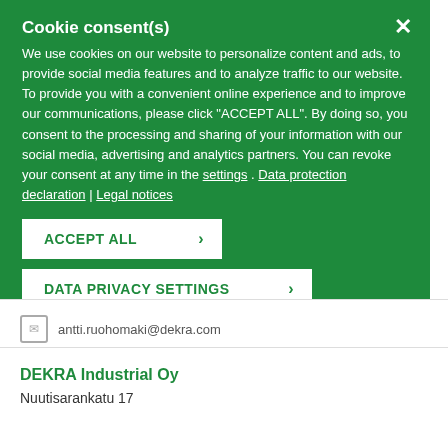Cookie consent(s)
We use cookies on our website to personalize content and ads, to provide social media features and to analyze traffic to our website. To provide you with a convenient online experience and to improve our communications, please click "ACCEPT ALL". By doing so, you consent to the processing and sharing of your information with our social media, advertising and analytics partners. You can revoke your consent at any time in the settings . Data protection declaration | Legal notices
ACCEPT ALL
DATA PRIVACY SETTINGS
antti.ruohomaki@dekra.com
DEKRA Industrial Oy
Nuutisarankatu 17